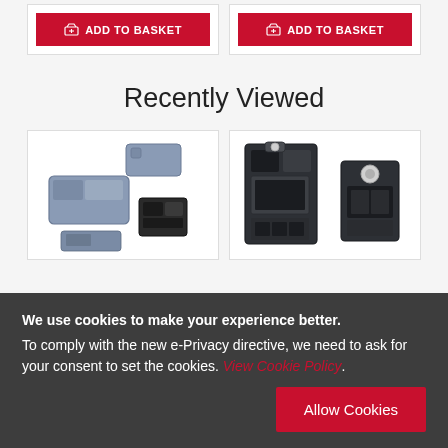[Figure (screenshot): Two red ADD TO BASKET buttons at top of page, in white product card stubs]
Recently Viewed
[Figure (photo): Gray industrial electrical connector housing components — multiple pieces shown disassembled]
[Figure (photo): Dark gray industrial electrical connector with latch mechanism — multiple pieces shown]
We use cookies to make your experience better. To comply with the new e-Privacy directive, we need to ask for your consent to set the cookies. View Cookie Policy. Allow Cookies